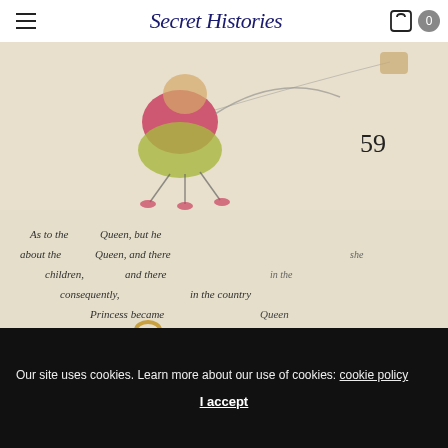Secret Histories
[Figure (photo): Illustrated book page showing a colorful cartoon insect/bug figure flying, with the page number 59 visible on the right side. The background is aged cream paper.]
[Figure (photo): Close-up photo of two small gold disc charms/pendants placed on an open book page showing old-fashioned printed text about 'the Queen', 'children', 'consequently', 'Princess became'. Background is light blue-grey.]
Our site uses cookies. Learn more about our use of cookies: cookie policy
I accept